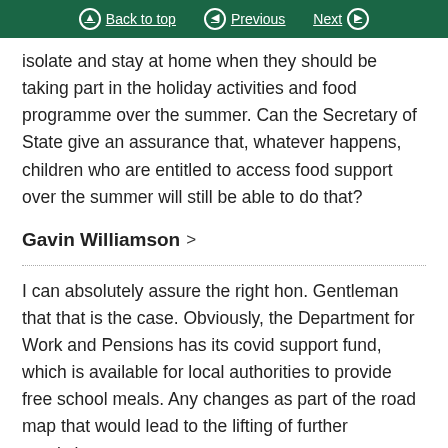Back to top | Previous | Next
isolate and stay at home when they should be taking part in the holiday activities and food programme over the summer. Can the Secretary of State give an assurance that, whatever happens, children who are entitled to access food support over the summer will still be able to do that?
Gavin Williamson >
I can absolutely assure the right hon. Gentleman that that is the case. Obviously, the Department for Work and Pensions has its covid support fund, which is available for local authorities to provide free school meals. Any changes as part of the road map that would lead to the lifting of further restrictions and of lockdown have been considered to affect